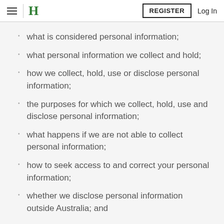H  REGISTER  Log In
what is considered personal information;
what personal information we collect and hold;
how we collect, hold, use or disclose personal information;
the purposes for which we collect, hold, use and disclose personal information;
what happens if we are not able to collect personal information;
how to seek access to and correct your personal information;
whether we disclose personal information outside Australia; and